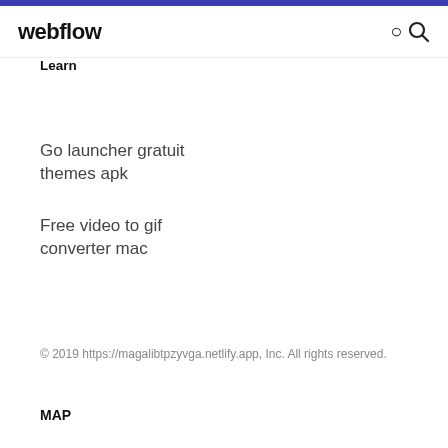webflow
Learn
Go launcher gratuit themes apk
Free video to gif converter mac
© 2019 https://magalibtpzyvga.netlify.app, Inc. All rights reserved.
MAP